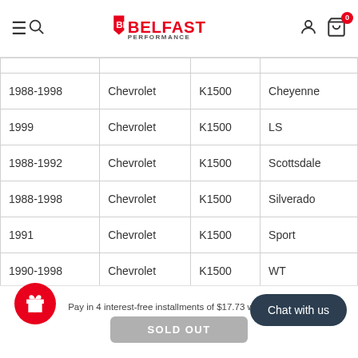Belfast Performance
| Year | Make | Model | Submodel |
| --- | --- | --- | --- |
| 1988-1998 | Chevrolet | K1500 | Cheyenne |
| 1999 | Chevrolet | K1500 | LS |
| 1988-1992 | Chevrolet | K1500 | Scottsdale |
| 1988-1998 | Chevrolet | K1500 | Silverado |
| 1991 | Chevrolet | K1500 | Sport |
| 1990-1998 | Chevrolet | K1500 | WT |
| 1994- | Chevrolet | K2500 |  |
Pay in 4 interest-free installments of $17.73 with
SOLD OUT